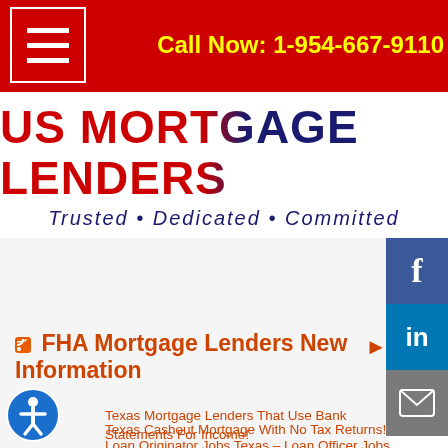Call Now: 1-954-667-9110
[Figure (logo): US Mortgage Lenders logo with tagline: Trusted • Dedicated • Committed]
[Figure (infographic): Social media sidebar with Facebook, LinkedIn, and email buttons]
FHA Mortgage Lenders New Information
Texas Cashout Mortgage With No Tax Returns!
Loan Originator Jobs Texas – Loan Officer Jobs Texas
Texas Mortgage Lenders That Use Bank Statements For Income!